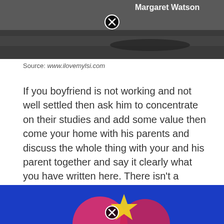[Figure (photo): Black and white photo showing a figure on grass with a close button overlay and 'Margaret Watson' text in top right]
Source: www.ilovemylsi.com
If you boyfriend is not working and not well settled then ask him to concentrate on their studies and add some value then come your home with his parents and discuss the whole thing with your and his parent together and say it clearly what you have written here. There isn't a steadfast rule about how long you should wait to meet the parents, says relationship counselor and dating coach samantha burns.
[Figure (photo): Colorful photo with blue background and pink/yellow shapes with a close button overlay]